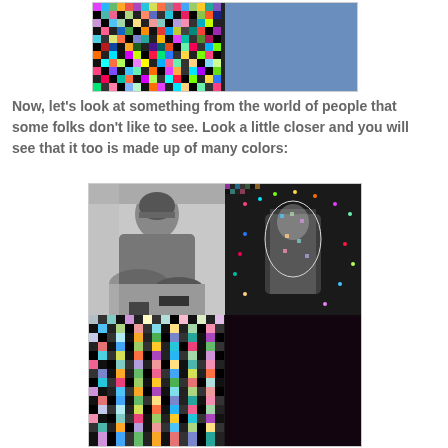[Figure (illustration): Top image showing two panels: left panel is a colorful pixel mosaic/noise pattern, right panel is a solid medium-blue rectangle]
Now, let's look at something from the world of people that some folks don't like to see. Look a little closer and you will see that it too is made up of many colors:
[Figure (illustration): 2x2 grid of images: top-left is a black and white photograph of a person sitting on the ground (appears homeless), top-right is a colorful pixelated/noise version of a similar figure, bottom-left is a colorful pixel mosaic pattern, bottom-right is a solid very dark maroon/black rectangle]